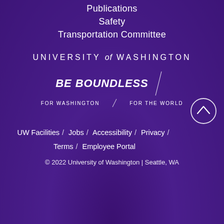Publications
Safety
Transportation Committee
[Figure (logo): University of Washington wordmark logo: UNIVERSITY of WASHINGTON in white text with italic 'of']
[Figure (logo): BE BOUNDLESS / FOR WASHINGTON / FOR THE WORLD campaign logo with diagonal slash divider]
UW Facilities / Jobs / Accessibility / Privacy / Terms / Employee Portal
© 2022 University of Washington | Seattle, WA